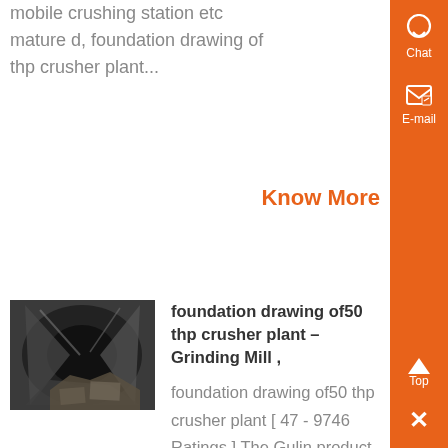mobile crushing station etc mature d, foundation drawing of thp crusher plant...
Know More
[Figure (photo): Interior view of a crusher or mill machinery, dark industrial setting]
foundation drawing of50 thp crusher plant – Grinding Mill ,
foundation drawing of50 thp crusher plant [ 47 - 9746 Ratings ] The Gulin product line, consisting of more than 30 machines, sets the standard for our industry We plan to help you meet your needs with our equipment, with our distribution and product support system, and the ....